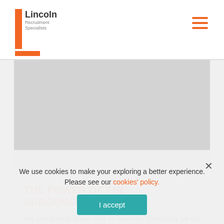[Figure (logo): Lincoln Recruitment Specialists logo with orange vertical bar and text]
[Figure (illustration): Gray rectangular image placeholder]
THE POWER OF THE SUBCONSCIOUS MIND
We spend most of our time on autopilot. Everything we do, from breathing to walking, to
We use cookies to make your exploring a better experience. Please see our cookies' policy. I accept